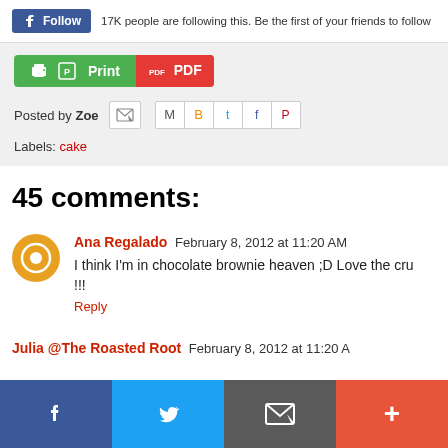17K people are following this. Be the first of your friends to follow
Print PDF
Posted by Zoe
Labels: cake
45 comments:
Ana Regalado  February 8, 2012 at 11:20 AM
I think I'm in chocolate brownie heaven ;D Love the cru!!!
Reply
Julia @The Roasted Root  February 8, 2012 at 11:20 A